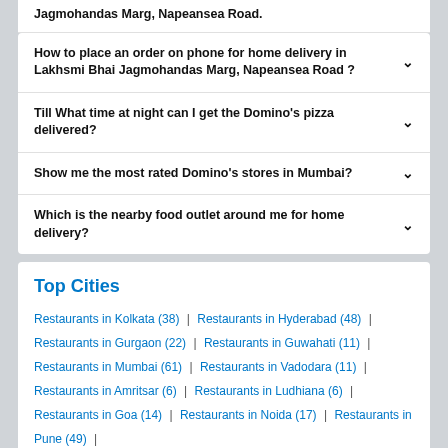Jagmohandas Marg, Napeansea Road.
How to place an order on phone for home delivery in Lakhsmi Bhai Jagmohandas Marg, Napeansea Road ?
Till What time at night can I get the Domino's pizza delivered?
Show me the most rated Domino's stores in Mumbai?
Which is the nearby food outlet around me for home delivery?
Top Cities
Restaurants in Kolkata (38) | Restaurants in Hyderabad (48) | Restaurants in Gurgaon (22) | Restaurants in Guwahati (11) | Restaurants in Mumbai (61) | Restaurants in Vadodara (11) | Restaurants in Amritsar (6) | Restaurants in Ludhiana (6) | Restaurants in Goa (14) | Restaurants in Noida (17) | Restaurants in Pune (49) | Restaurants in Indore (10) | Restaurants in Dehradun (6) | Restaurants in New Delhi (88) | Restaurants in Ahmedabad (27)